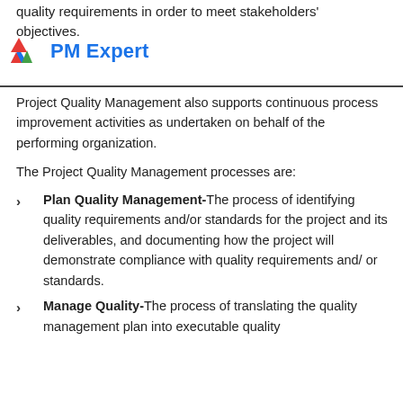quality requirements in order to meet stakeholders' objectives.
[Figure (logo): PM Expert logo with a triangular icon in red, green, and blue colors, followed by the text 'PM Expert' in blue bold font.]
Project Quality Management also supports continuous process improvement activities as undertaken on behalf of the performing organization.
The Project Quality Management processes are:
Plan Quality Management- The process of identifying quality requirements and/or standards for the project and its deliverables, and documenting how the project will demonstrate compliance with quality requirements and/ or standards.
Manage Quality- The process of translating the quality management plan into executable quality